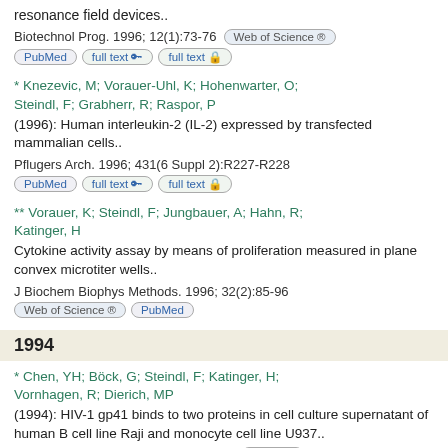resonance field devices..
Biotechnol Prog. 1996; 12(1):73-76
* Knezevic, M; Vorauer-Uhl, K; Hohenwarter, O; Steindl, F; Grabherr, R; Raspor, P
(1996): Human interleukin-2 (IL-2) expressed by transfected mammalian cells..
Pflugers Arch. 1996; 431(6 Suppl 2):R227-R228
** Vorauer, K; Steindl, F; Jungbauer, A; Hahn, R; Katinger, H
Cytokine activity assay by means of proliferation measured in plane convex microtiter wells..
J Biochem Biophys Methods. 1996; 32(2):85-96
1994
* Chen, YH; Böck, G; Steindl, F; Katinger, H; Vornhagen, R; Dierich, MP
(1994): HIV-1 gp41 binds to two proteins in cell culture supernatant of human B cell line Raji and monocyte cell line U937..
Immunobiology. 1994; 190(3):255-262